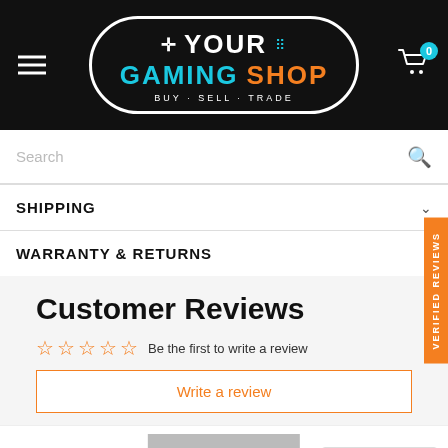[Figure (logo): Your Gaming Shop logo - black header bar with white/cyan/orange logo text, hamburger menu left, cart icon right with badge '0']
Search
SHIPPING
WARRANTY & RETURNS
Customer Reviews
Be the first to write a review
Write a review
SOLD OUT
[Figure (logo): TrustedSite Certified Secure badge]
VERIFIED REVIEWS